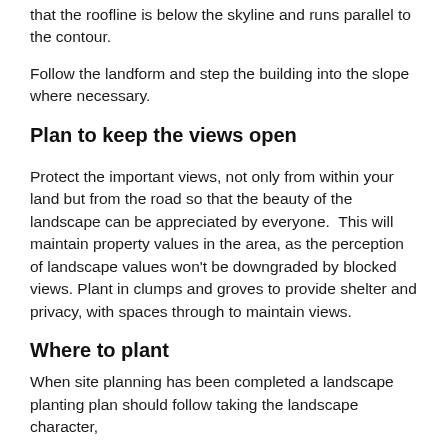that the roofline is below the skyline and runs parallel to the contour.
Follow the landform and step the building into the slope where necessary.
Plan to keep the views open
Protect the important views, not only from within your land but from the road so that the beauty of the landscape can be appreciated by everyone.  This will maintain property values in the area, as the perception of landscape values won't be downgraded by blocked views. Plant in clumps and groves to provide shelter and privacy, with spaces through to maintain views.
Where to plant
When site planning has been completed a landscape planting plan should follow taking the landscape character,